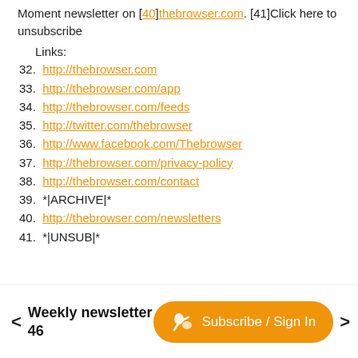Moment newsletter on [40]thebrowser.com. [41]Click here to unsubscribe
Links:
32. http://thebrowser.com
33. http://thebrowser.com/app
34. http://thebrowser.com/feeds
35. http://twitter.com/thebrowser
36. http://www.facebook.com/Thebrowser
37. http://thebrowser.com/privacy-policy
38. http://thebrowser.com/contact
39. *|ARCHIVE|*
40. http://thebrowser.com/newsletters
41. *|UNSUB|*
< Weekly newsletter 46   Subscribe / Sign In >